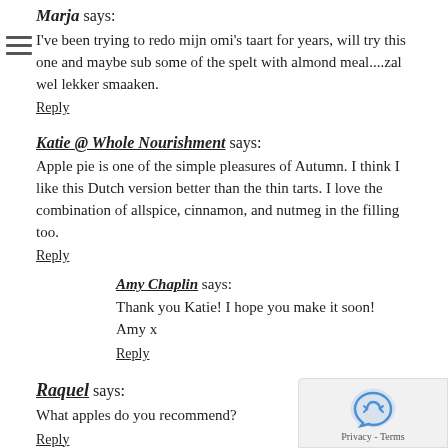Marja says:
I've been trying to redo mijn omi's taart for years, will try this one and maybe sub some of the spelt with almond meal....zal wel lekker smaaken.
Reply
Katie @ Whole Nourishment says:
Apple pie is one of the simple pleasures of Autumn. I think I like this Dutch version better than the thin tarts. I love the combination of allspice, cinnamon, and nutmeg in the filling too.
Reply
Amy Chaplin says:
Thank you Katie! I hope you make it soon!
Amy x
Reply
Raquel says:
What apples do you recommend?
Reply
Amy Chaplin says:
Hi Raquel,
I mention what types to look out for in the post. Something that isn't